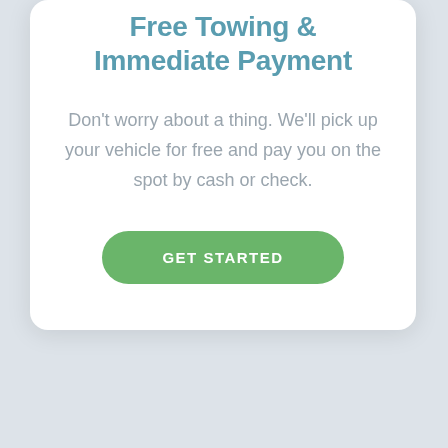Free Towing & Immediate Payment
Don't worry about a thing. We'll pick up your vehicle for free and pay you on the spot by cash or check.
[Figure (other): Green rounded button with white uppercase text reading 'GET STARTED']